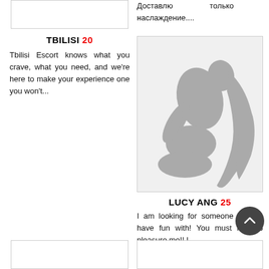[Figure (other): Empty image placeholder box, top left]
TBILISI 20
Tbilisi Escort knows what you crave, what you need, and we're here to make your experience one you won't...
Доставлю только наслаждение....
[Figure (illustration): Silhouette of a kneeling woman with long hair]
LUCY ANG 25
I am looking for someone new to have fun with! You must love to pleasure me!! I...
[Figure (other): Empty image placeholder box, bottom left]
[Figure (other): Empty image placeholder box, bottom right]